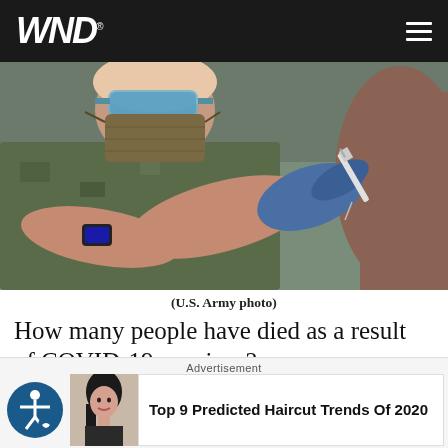WND
[Figure (photo): A military healthcare worker in camouflage uniform, blue gloves, face mask and goggles administering a vaccine injection into a patient's arm with a syringe.]
(U.S. Army photo)
How many people have died as a result of COVID-19 vaccines?
Advertisement
Top 9 Predicted Haircut Trends Of 2020